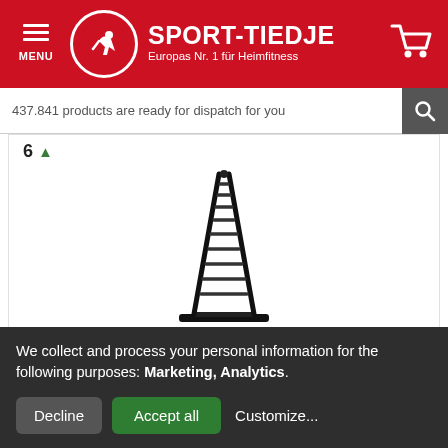SPORT-TIEDJE — Europas Nr. 1 für Heimfitness
437.841 products are ready for dispatch for you
[Figure (photo): Product image of a Taurus weight stand for training weights, showing a triangular rack with multiple tiers for holding dumbbells, with '6' and an upward arrow indicating ranking]
Taurus weight stand for training weights
[Figure (logo): TAURUS brand logo in bold dark letters with an arc underline]
£149.00 (strikethrough) £135.00
We collect and process your personal information for the following purposes: Marketing, Analytics.
Decline  Accept all  Customize...